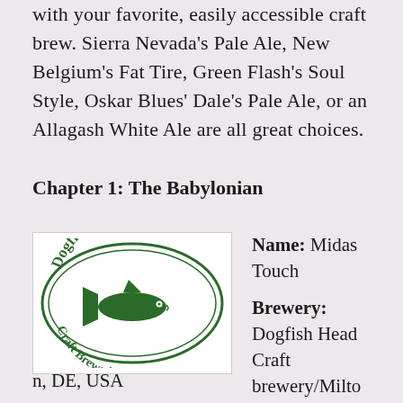with your favorite, easily accessible craft brew. Sierra Nevada's Pale Ale, New Belgium's Fat Tire, Green Flash's Soul Style, Oskar Blues' Dale's Pale Ale, or an Allagash White Ale are all great choices.
Chapter 1: The Babylonian
[Figure (logo): Dogfish Head Craft Brewed Ales circular logo with a fish illustration in green]
Name: Midas Touch

Brewery: Dogfish Head Craft brewery/Milton, DE, USA